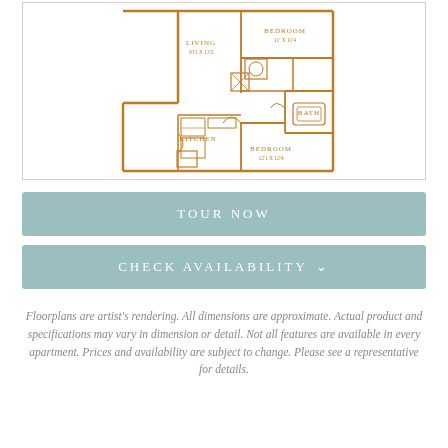[Figure (engineering-diagram): Apartment floorplan showing two bedrooms, living area, kitchen, and bath rendered in an orange/brown line drawing style on white background.]
TOUR NOW
CHECK AVAILABILITY
Floorplans are artist's rendering. All dimensions are approximate. Actual product and specifications may vary in dimension or detail. Not all features are available in every apartment. Prices and availability are subject to change. Please see a representative for details.